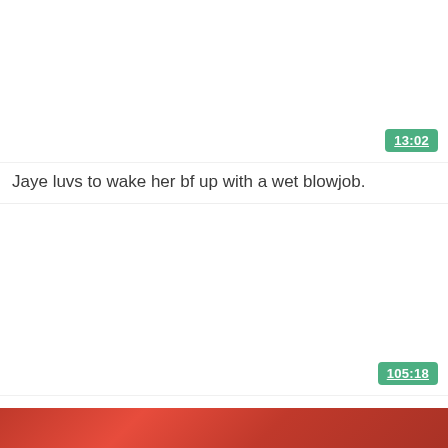[Figure (screenshot): Video thumbnail placeholder (white/blank) for first video card with duration badge showing 13:02]
Jaye luvs to wake her bf up with a wet blowjob.
[Figure (screenshot): Video thumbnail placeholder (white/blank) for second video card with duration badge showing 105:18]
Redhead teen toying her cooch and s
[Figure (photo): Partial thumbnail image showing red/warm tones at the bottom of the page]